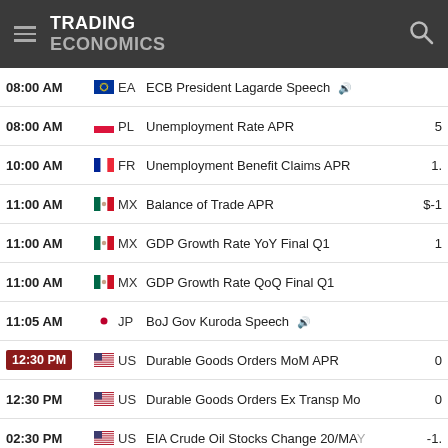TRADING ECONOMICS
| Time | Country | Event | Value |
| --- | --- | --- | --- |
| 08:00 AM | EA | ECB President Lagarde Speech |  |
| 08:00 AM | PL | Unemployment Rate APR | 5 |
| 10:00 AM | FR | Unemployment Benefit Claims APR | 1. |
| 11:00 AM | MX | Balance of Trade APR | $-1 |
| 11:00 AM | MX | GDP Growth Rate YoY Final Q1 | 1 |
| 11:00 AM | MX | GDP Growth Rate QoQ Final Q1 |  |
| 11:05 AM | JP | BoJ Gov Kuroda Speech |  |
| 12:30 PM | US | Durable Goods Orders MoM APR | 0 |
| 12:30 PM | US | Durable Goods Orders Ex Transp Mo | 0 |
| 02:30 PM | US | EIA Crude Oil Stocks Change 20/MAY | -1. |
| 02:30 PM | US | EIA Gasoline Stocks Change 20/MAY | -0. |
| 04:15 PM | US | Fed Brainard Speech |  |